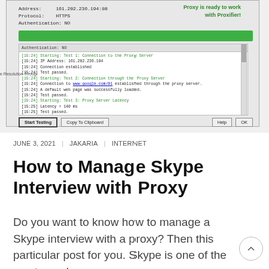[Figure (screenshot): Screenshot of Proxifier proxy testing dialog showing proxy details (Address: 161.202.236.194:80, Protocol: HTTPS, Authentication: NO), a green progress bar, test log output showing Test 1 (Connection to Proxy Server), Test 2 (Connection through Proxy Server via www.google.com), Test 3 (Proxy Server Latency = 140ms), all tests passed. Buttons: Start Testing, Copy To Clipboard, Help, OK. Green text reads 'Proxy is ready to work with Proxifier!']
JUNE 3, 2021 | JAKARIA | INTERNET
How to Manage Skype Interview with Proxy
Do you want to know how to manage a Skype interview with a proxy? Then this particular post for you. Skype is one of the most popular ...